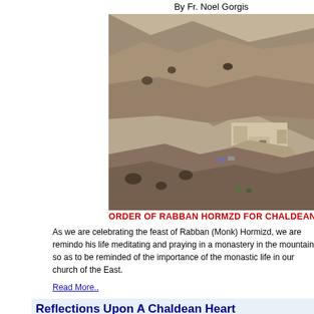By Fr. Noel Gorgis
[Figure (photo): Aerial view of a monastery built into a rocky mountain cliff face, with stone walls and structures visible against a barren hillside. This appears to be the Rabban Hormzd monastery in Iraq.]
ORDER OF RABBAN HORMZD FOR CHALDEAN C
As we are celebrating the feast of Rabban (Monk) Hormizd, we are remindo his life meditating and praying in a monastery in the mountain so as to be reminded of the importance of the monastic life in our church of the East.
Read More..
Reflections Upon A Chaldean Heart